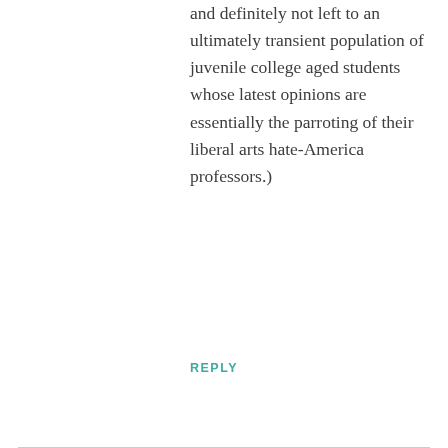and definitely not left to an ultimately transient population of juvenile college aged students whose latest opinions are essentially the parroting of their liberal arts hate-America professors.)
REPLY